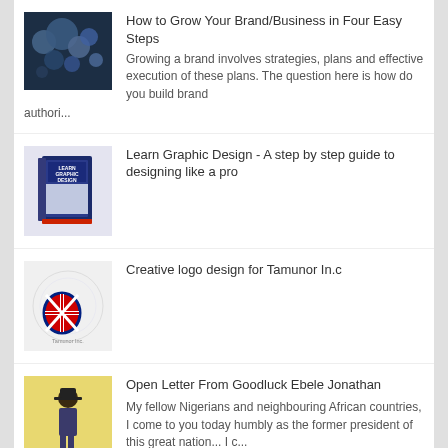How to Grow Your Brand/Business in Four Easy Steps
Growing a brand involves strategies, plans and effective execution of these plans. The question here is how do you build brand authori...
Learn Graphic Design - A step by step guide to designing like a pro
Creative logo design for Tamunor In.c
Open Letter From Goodluck Ebele Jonathan
My fellow Nigerians and neighbouring African countries, I come to you today humbly as the former president of this great nation... I c...
Creative tech logo